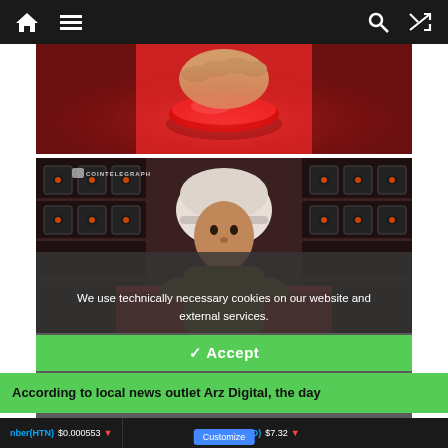Navigation bar with home icon, menu icon, search icon, and shuffle icon
[Figure (illustration): Illustration of a hand pressing a large red button against a red background]
[Figure (illustration): Cointelegraph illustration of a miner character wearing a white hard hat, surrounded by cryptocurrency mining rigs on shelves in a dark room, with a red table/button in the foreground]
We use technically necessary cookies on our website and external services.
By default, all services are disabled. You can turn or off each service if you need them or not.
For more informations please read our privacy policy.
✓ Accept
According to local news outlet Arz Digital, the day
nber(HTN) $0.000553 ↓ | Tadpole(TAD) $7.32 ↑